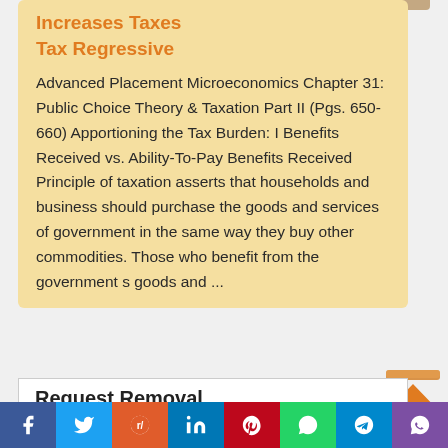Increases Taxes
Tax Regressive
Advanced Placement Microeconomics Chapter 31: Public Choice Theory & Taxation Part II (Pgs. 650-660) Apportioning the Tax Burden: I Benefits Received vs. Ability-To-Pay Benefits Received Principle of taxation asserts that households and business should purchase the goods and services of government in the same way they buy other commodities. Those who benefit from the government s goods and ...
Request Removal